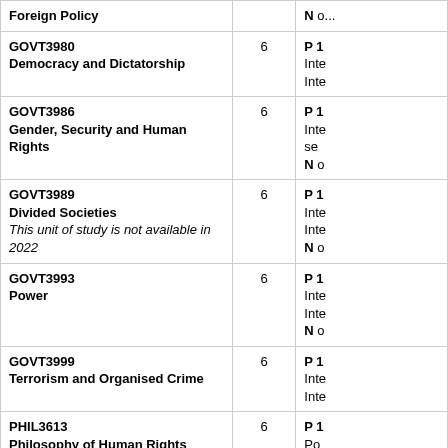| Unit | CP | Prerequisites/Notes |
| --- | --- | --- |
| Foreign Policy |  | N ... |
| GOVT3980 Democracy and Dictatorship | 6 | P 1... Inte... Inte... |
| GOVT3986 Gender, Security and Human Rights | 6 | P 1... Inte... se... N ... |
| GOVT3989 Divided Societies [This unit of study is not available in 2022] | 6 | P 1... Inte... Inte... N ... |
| GOVT3993 Power | 6 | P 1... Inte... Inte... N ... |
| GOVT3999 Terrorism and Organised Crime | 6 | P 1... Inte... Inte... |
| PHIL3613 Philosophy of Human Rights | 6 | P 1... Po... |
| Interdisciplinary project |  |  |